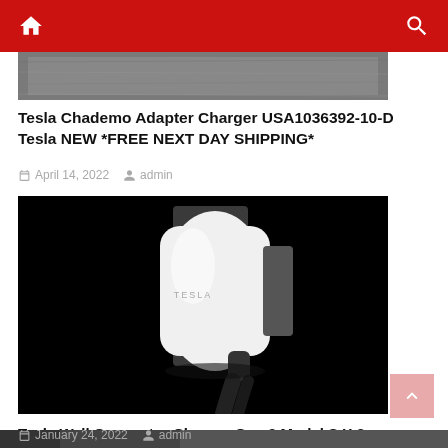Navigation bar with home and search icons
[Figure (photo): Partial view of a textured/patterned image at top of first article]
Tesla Chademo Adapter Charger USA1036392-10-D Tesla NEW *FREE NEXT DAY SHIPPING*
April 14, 2022  admin
[Figure (photo): Tesla Wall Connector charger on black background, showing white charger unit with TESLA branding and black cable]
Tesla Wall Connector Charger Gen 3 Model S X 3 Y 24ft
January 24, 2022  admin